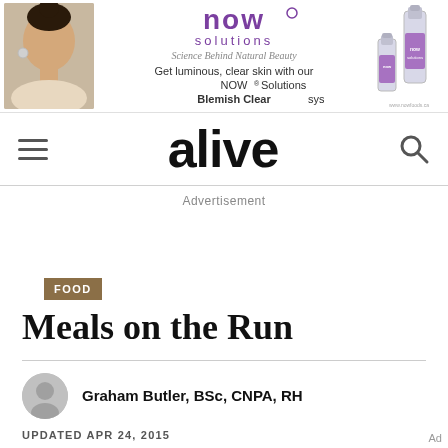[Figure (advertisement): NOW Solutions advertisement banner showing a woman's face on the left, NOW Solutions brand logo and tagline 'Science Behind Natural Beauty' in center, text 'Get luminous, clear skin with our NOW Solutions Blemish Clear system', and product bottles on the right]
alive
Advertisement
FOOD
Meals on the Run
Graham Butler, BSc, CNPA, RH
UPDATED APR 24, 2015